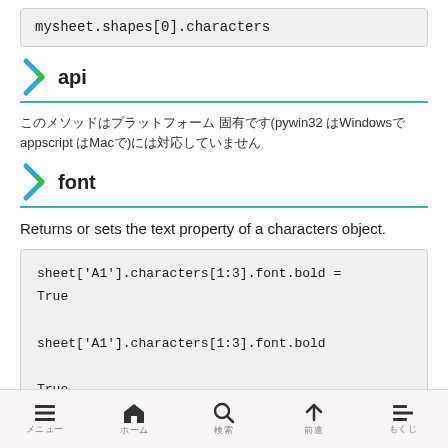mysheet.shapes[0].characters
api
このメソッドはプラットフォーム 固有です(pywin32 はWindowsで appscript はMacで)には対応していません
font
Returns or sets the text property of a characters object.
sheet['A1'].characters[1:3].font.bold = True
sheet['A1'].characters[1:3].font.bold
True
メニュー ホーム 検索 前進 もくじ